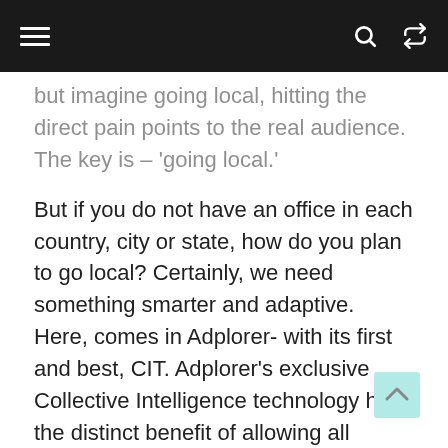☰ 🔍 ⇌
but imagine going local, hitting the direct pain points to the real audience. The key is – 'going local.'
But if you do not have an office in each country, city or state, how do you plan to go local? Certainly, we need something smarter and adaptive. Here, comes in Adplorer- with its first and best, CIT. Adplorer's exclusive Collective Intelligence technology has the distinct benefit of allowing all participating sites to learn from the success of other campaigns. Adplorer compiles data from all participating campaigns into well-organized roll-up reports. Campaigns for hundreds of individual sites may be designed rapidly and cost-effectively using local variables.